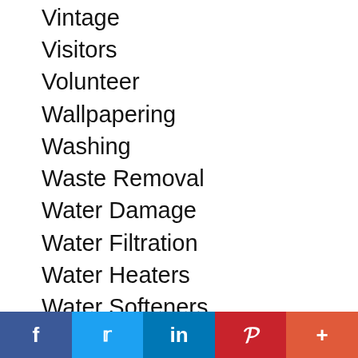Vintage
Visitors
Volunteer
Wallpapering
Washing
Waste Removal
Water Damage
Water Filtration
Water Heaters
Water Softeners
Website Services
Wedding
Wedding Services
Weight Loss